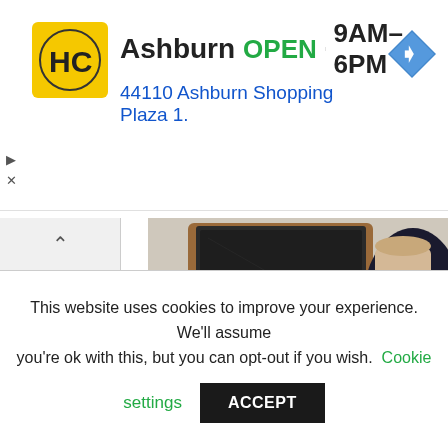[Figure (infographic): Advertisement banner for Hairclub (HC) Ashburn location. Yellow square logo with HC initials, text showing 'Ashburn OPEN 9AM-6PM' and '44110 Ashburn Shopping Plaza 1.' with a blue navigation arrow icon.]
[Figure (photo): Overhead photo of a person in bed with a laptop on a wooden tray, a plate with food, and a notepad. Person's hand holds a cup. Appears to be a lifestyle/blog image.]
HP NoteBook PC Viru…
This website uses cookies to improve your experience. We'll assume you're ok with this, but you can opt-out if you wish. Cookie settings ACCEPT